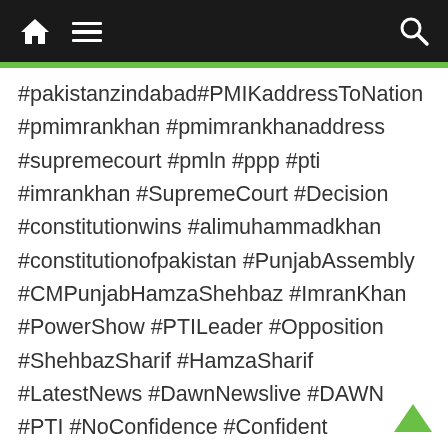Navigation bar with home, menu, and search icons
#pakistanzindabad#PMIKaddressToNation #pmimrankhan #pmimrankhanaddress #supremecourt #pmln #ppp #pti #imrankhan #SupremeCourt #Decision #constitutionwins #alimuhammadkhan #constitutionofpakistan #PunjabAssembly #CMPunjabHamzaShehbaz #ImranKhan #PowerShow #PTILeader #Opposition #ShehbazSharif #HamzaSharif #LatestNews #DawnNewslive #DAWN #PTI #NoConfidence #Confident #MeinBheArshadSharifHoon #NawazSharif #PTIGovt #PMLN #PPP #JUIF #NationalAssembly #ChaudhryNisar